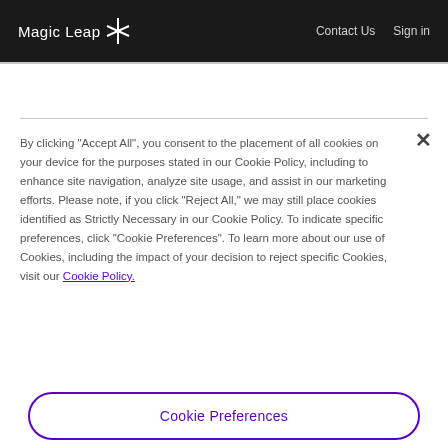Magic Leap  Contact Us  Sign in
By clicking "Accept All", you consent to the placement of all cookies on your device for the purposes stated in our Cookie Policy, including to enhance site navigation, analyze site usage, and assist in our marketing efforts. Please note, if you click "Reject All," we may still place cookies identified as Strictly Necessary in our Cookie Policy. To indicate specific preferences, click "Cookie Preferences". To learn more about our use of Cookies, including the impact of your decision to reject specific Cookies, visit our Cookie Policy.
Cookie Preferences